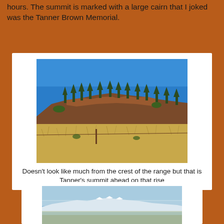hours.  The summit is marked with a large cairn that I joked was the Tanner Brown Memorial.
[Figure (photo): Hillside with dry golden grass in the foreground and a rounded summit covered with pine trees and shrubs under a clear blue sky.]
Doesn't look like much from the crest of the range but that is Tanner's summit ahead on that rise
[Figure (photo): Panoramic view from the summit showing distant snow-capped mountains and a wide valley under a pale blue sky with haze near the horizon.]